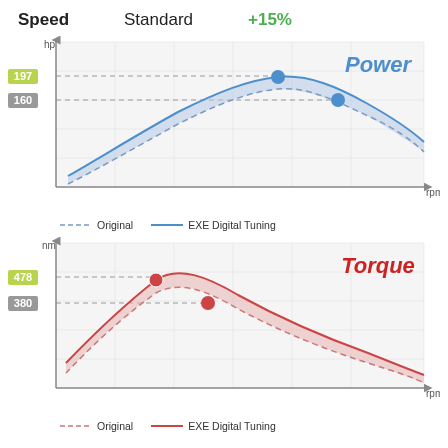Speed   Standard   +15%
[Figure (continuous-plot): Power curve chart showing two curves: Original (dashed) and EXE Digital Tuning (solid blue). Y-axis labeled hp, X-axis labeled rpm. EXE tuning peaks at 197 hp, original peaks at 160 hp. Shaded area between curves.]
[Figure (continuous-plot): Torque curve chart showing two curves: Original (dashed red) and EXE Digital Tuning (solid red). Y-axis labeled nm, X-axis labeled rpm. EXE tuning peaks at 478 nm, original peaks at 380 nm. Shaded area between curves.]